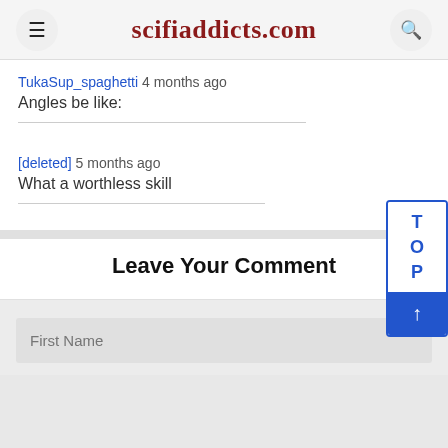scifiaddicts.com
TukaSup_spaghetti 4 months ago
Angles be like:
[deleted] 5 months ago
What a worthless skill
Leave Your Comment
First Name